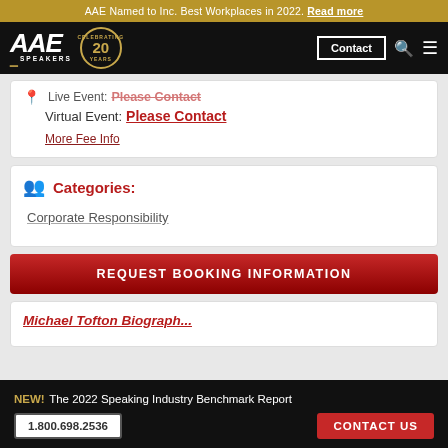AAE Named to Inc. Best Workplaces in 2022. Read more
[Figure (logo): AAE Speakers logo with 20 Years Celebrating badge, Contact button, search icon, menu icon]
Live Event: Please Contact
Virtual Event: Please Contact
More Fee Info
Categories:
Corporate Responsibility
REQUEST BOOKING INFORMATION
Michael Tofton Biograph...
NEW! The 2022 Speaking Industry Benchmark Report  1.800.698.2536  CONTACT US